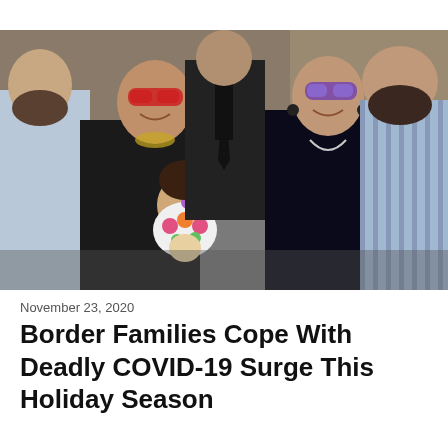[Figure (photo): Group photo of a family consisting of five adults and a baby. From left: a man in a light blue shirt, a woman in a black outfit wearing red sunglasses, a man in a dark suit and tie (partially visible), a woman with dark hair wearing purple sunglasses, and a heavyset man in a striped shirt. The woman in the center is holding a baby in a floral bib with a pacifier.]
November 23, 2020
Border Families Cope With Deadly COVID-19 Surge This Holiday Season